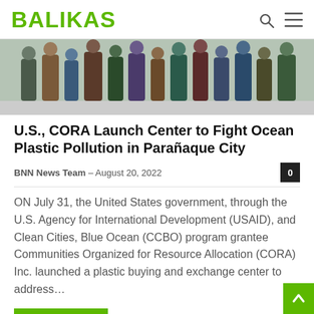BALIKAS
[Figure (photo): Group of people standing together in a line, photo cropped at the top]
U.S., CORA Launch Center to Fight Ocean Plastic Pollution in Parañaque City
BNN News Team – August 20, 2022
ON July 31, the United States government, through the U.S. Agency for International Development (USAID), and Clean Cities, Blue Ocean (CCBO) program grantee Communities Organized for Resource Allocation (CORA) Inc. launched a plastic buying and exchange center to address...
Read more